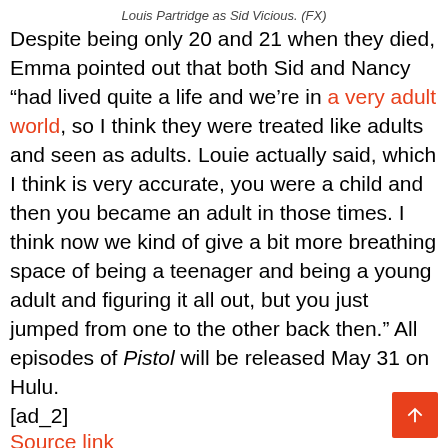Louis Partridge as Sid Vicious. (FX)
Despite being only 20 and 21 when they died, Emma pointed out that both Sid and Nancy “had lived quite a life and we’re in a very adult world, so I think they were treated like adults and seen as adults. Louie actually said, which I think is very accurate, you were a child and then you became an adult in those times. I think now we kind of give a bit more breathing space of being a teenager and being a young adult and figuring it all out, but you just jumped from one to the other back then.” All episodes of Pistol will be released May 31 on Hulu.
[ad_2]
Source link